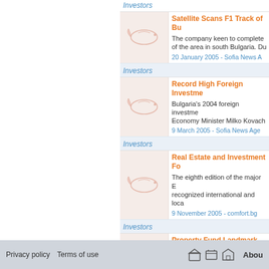Investors
[Figure (illustration): Placeholder fish/bird logo image thumbnail]
Satellite Scans F1 Track of Bu...
The company keen to complete ... of the area in south Bulgaria. Du...
20 January 2005 - Sofia News A...
Investors
[Figure (illustration): Placeholder fish/bird logo image thumbnail]
Record High Foreign Investme...
Bulgaria's 2004 foreign investme... Economy Minister Milko Kovache...
9 March 2005 - Sofia News Age...
Investors
[Figure (illustration): Placeholder fish/bird logo image thumbnail]
Real Estate and Investment Fo...
The eighth edition of the major E... recognized international and loca...
9 November 2005 - comfort.bg
Investors
[Figure (illustration): Placeholder fish/bird logo image thumbnail]
Property Fund Landmark Buys...
Landmark Properties Bulgaria, a... Black Sea Rama, a joint stock co...
25 May 2006 - Dnevnik
Investors
Privacy policy   Terms of use   About